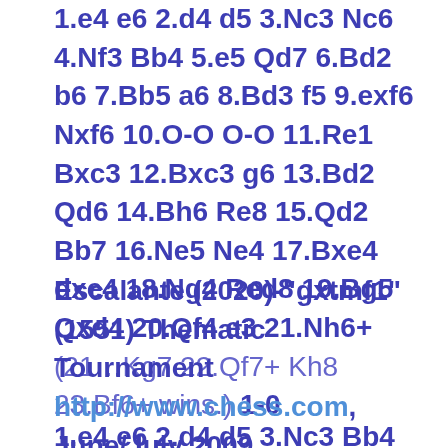1.e4 e6 2.d4 d5 3.Nc3 Nc6 4.Nf3 Bb4 5.e5 Qd7 6.Bd2 b6 7.Bb5 a6 8.Bd3 f5 9.exf6 Nxf6 10.O-O O-O 11.Re1 Bxc3 12.Bxc3 g6 13.Bd2 Qd6 14.Bh6 Re8 15.Qd2 Bb7 16.Ne5 Ne4 17.Bxe4 dxe4 18.Ng4 Red8 19.Bg5 Qxd4 20.Qf4 e3 21.Nh6+ (21...Kg7 22.Qf7+ Kh8 23.Bf6+ wins.) 1-0
Escalante (2020)-"gxtmf1" (1551) Thematic Tournament http://www.chess.com, June/July 2009 1.e4 e6 2.d4 d5 3.Nc3 Bb4 4.e5 c5 5.Bd2